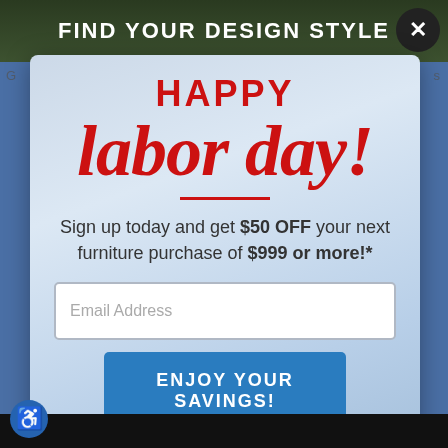FIND YOUR DESIGN STYLE
HAPPY labor day!
Sign up today and get $50 OFF your next furniture purchase of $999 or more!*
Email Address
ENJOY YOUR SAVINGS!
NO THANKS